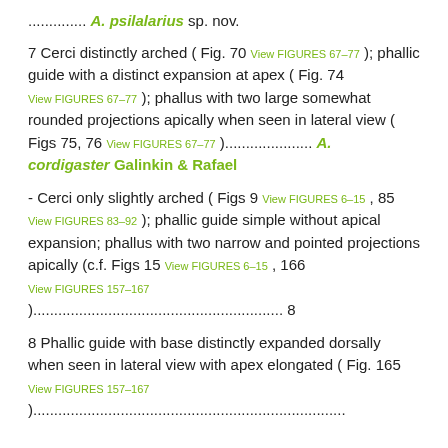.............. A. psilalarius sp. nov.
7 Cerci distinctly arched ( Fig. 70 View FIGURES 67–77 ); phallic guide with a distinct expansion at apex ( Fig. 74 View FIGURES 67–77 ); phallus with two large somewhat rounded projections apically when seen in lateral view ( Figs 75, 76 View FIGURES 67–77 )..................... A. cordigaster Galinkin & Rafael
- Cerci only slightly arched ( Figs 9 View FIGURES 6–15 , 85 View FIGURES 83–92 ); phallic guide simple without apical expansion; phallus with two narrow and pointed projections apically (c.f. Figs 15 View FIGURES 6–15 , 166 View FIGURES 157–167 )............................................................ 8
8 Phallic guide with base distinctly expanded dorsally when seen in lateral view with apex elongated ( Fig. 165 View FIGURES 157–167 )...........................................................................